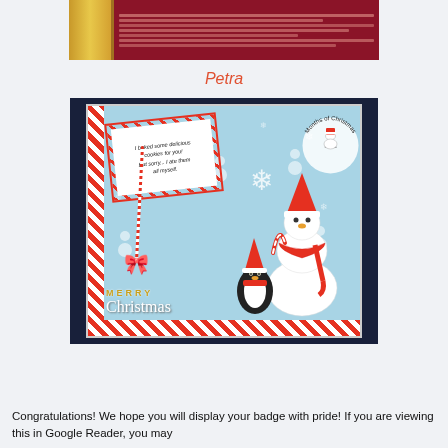[Figure (photo): Partial view of a craft/stamp product at the top of the page - gold/yellow striped design with dark red background and text]
Petra
[Figure (photo): Christmas greeting card craft project by Petra, featuring a snowman and penguin with Santa hats, 'Merry Christmas' text, candy cane stripe borders, red and white twine bow, a tag reading 'I baked some delicious cookies for you! But sorry... I ate them all myself', set against a dark navy photo background. Circular badge in upper right reads 'Months of Christmas'.]
Congratulations! We hope you will display your badge with pride! If you are viewing this in Google Reader, you may